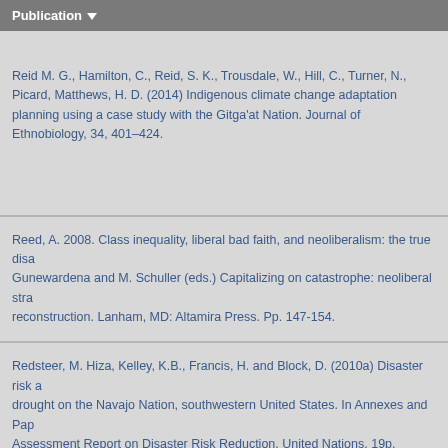Publication
Reid M. G., Hamilton, C., Reid, S. K., Trousdale, W., Hill, C., Turner, N., Picard, Matthews, H. D. (2014) Indigenous climate change adaptation planning using a case study with the Gitga'at Nation. Journal of Ethnobiology, 34, 401–424.
Reed, A. 2008. Class inequality, liberal bad faith, and neoliberalism: the true disa Gunewardena and M. Schuller (eds.) Capitalizing on catastrophe: neoliberal stra reconstruction. Lanham, MD: Altamira Press. Pp. 147-154.
Redsteer, M. Hiza, Kelley, K.B., Francis, H. and Block, D. (2010a) Disaster risk a drought on the Navajo Nation, southwestern United States. In Annexes and Pap Assessment Report on Disaster Risk Reduction, United Nations, 19p. Available a https://www.preventionweb.net/english/hyogo/gar/2011/en/what/drought.html
Redsteer, M. Hiza, Bogle, R.C., and Vogel J.M. (2011a) Monitoring and Analysis Growth on the Navajo Nation, Southwestern United States, U.S. Geological Su